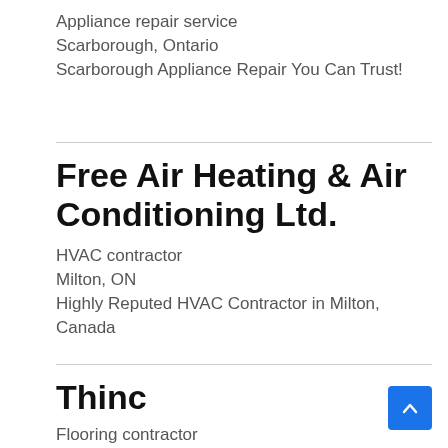Appliance repair service
Scarborough, Ontario
Scarborough Appliance Repair You Can Trust!
Free Air Heating & Air Conditioning Ltd.
HVAC contractor
Milton, ON
Highly Reputed HVAC Contractor in Milton, Canada
Thinc
Flooring contractor